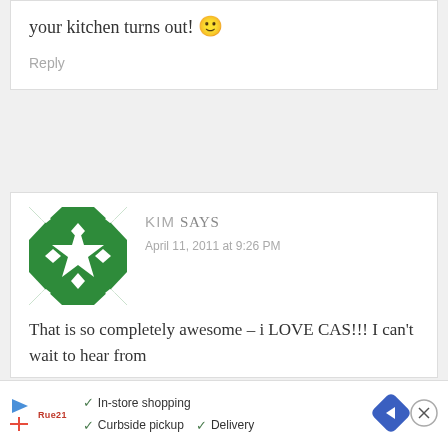Good luck! Can't wait to see how your kitchen turns out! 🙂
Reply
KIM SAYS
April 11, 2011 at 9:26 PM
[Figure (illustration): Green decorative avatar/identicon with geometric diamond and star pattern on white background]
That is so completely awesome – i LOVE CAS!!! I can't wait to hear from
✓ In-store shopping  ✓ Curbside pickup  ✓ Delivery